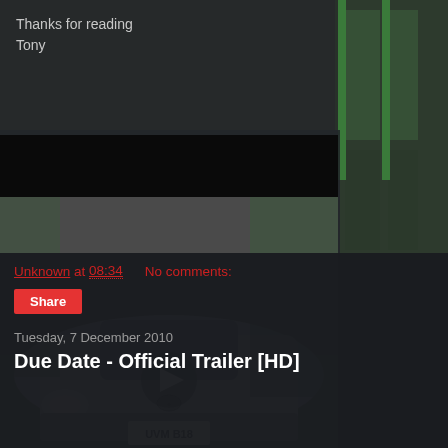Thanks for reading
Tony
[Figure (screenshot): Video player showing a silver Subaru Legacy sedan driving on a road with a play button overlay. License plate reads UVM B18. Black bar at top and bottom of player.]
Unknown at 08:34    No comments:
Share
Tuesday, 7 December 2010
Due Date - Official Trailer [HD]